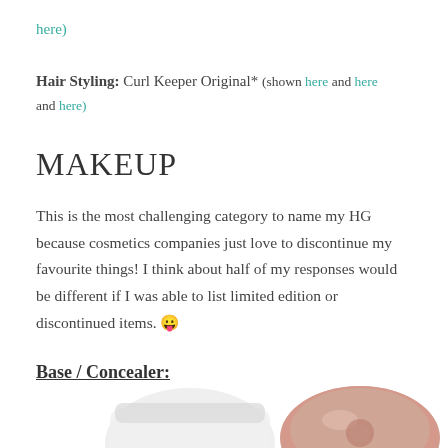here)
Hair Styling: Curl Keeper Original* (shown here and here and here)
MAKEUP
This is the most challenging category to name my HG because cosmetics companies just love to discontinue my favourite things! I think about half of my responses would be different if I was able to list limited edition or discontinued items. 😛
Base / Concealer:
[Figure (photo): Product photo showing two makeup products - a concealer/base compact with rose gold lid and a white/clear cosmetic container]